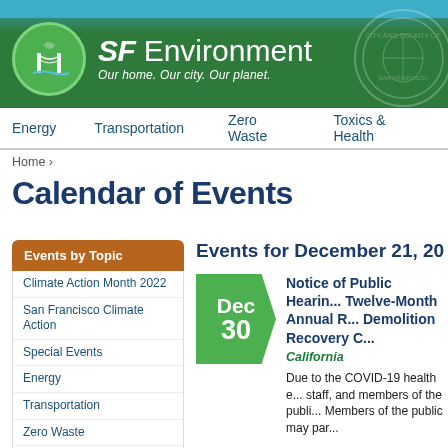[Figure (logo): SF Environment logo with green circle containing Golden Gate Bridge icon, text 'SF Environment - Our home. Our city. Our planet.' on green banner background with city seal watermark]
Energy   Transportation   Zero Waste   Toxics & Health
Home ›
Calendar of Events
Events by Topic
Climate Action Month 2022
San Francisco Climate Action
Special Events
Energy
Transportation
Zero Waste
Toxics & Health
Buildings & Environments
Education & Equity
Events for December 21, 20...
Notice of Public Hearing... Twelve-Month Annual R... Demolition Recovery C...
California
Due to the COVID-19 health e... staff, and members of the publi... Members of the public may par...